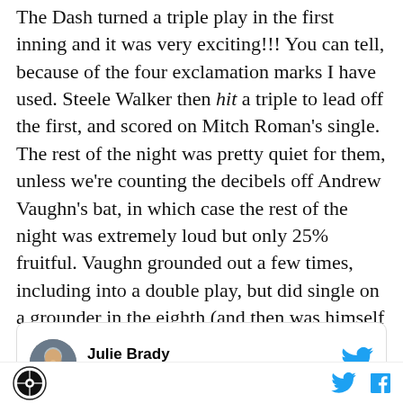The Dash turned a triple play in the first inning and it was very exciting!!! You can tell, because of the four exclamation marks I have used. Steele Walker then hit a triple to lead off the first, and scored on Mitch Roman's single. The rest of the night was pretty quiet for them, unless we're counting the decibels off Andrew Vaughn's bat, in which case the rest of the night was extremely loud but only 25% fruitful. Vaughn grounded out a few times, including into a double play, but did single on a grounder in the eighth (and then was himself erased on a double play).
[Figure (screenshot): Tweet card from Julie Brady @DestroyBaseball with Follow button and Twitter bird icon]
Site logo, Twitter icon, Facebook icon